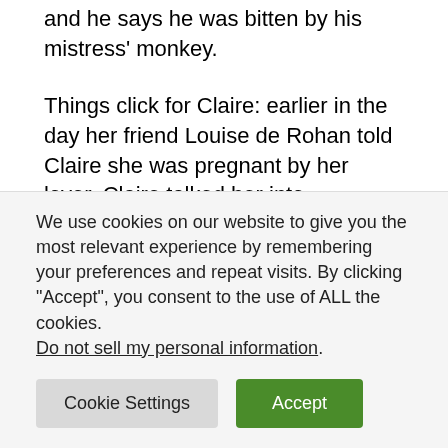and he says he was bitten by his mistress' monkey.
Things click for Claire: earlier in the day her friend Louise de Rohan told Claire she was pregnant by her lover. Claire talked her into convincing her husband the baby was his, because the alternatives were dire. Also, Louise has an evil little monkey that bites people.
After Charles leaves, Jamie and Claire decide to invite Louise and her husband to the dinner party. Having her there (with her husband!) will just give Charles more
We use cookies on our website to give you the most relevant experience by remembering your preferences and repeat visits. By clicking “Accept”, you consent to the use of ALL the cookies. Do not sell my personal information.
Cookie Settings
Accept